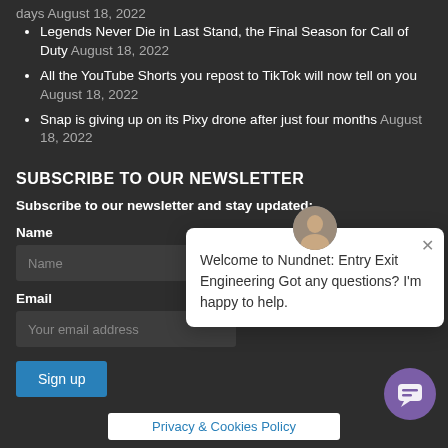days August 18, 2022
Legends Never Die in Last Stand, the Final Season for Call of Duty August 18, 2022
All the YouTube Shorts you repost to TikTok will now tell on you August 18, 2022
Snap is giving up on its Pixy drone after just four months August 18, 2022
SUBSCRIBE TO OUR NEWSLETTER
Subscribe to our newsletter and stay updated:
Name
Name (input field)
Email
Your email address (input field)
Sign up
[Figure (other): Chat popup with avatar showing: Welcome to Nundnet: Entry Exit Engineering Got any questions? I'm happy to help.]
Privacy & Cookies Policy